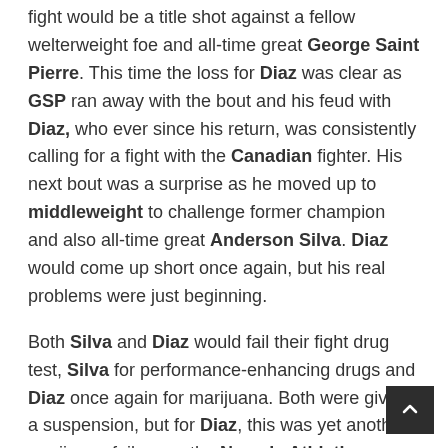fight would be a title shot against a fellow welterweight foe and all-time great George Saint Pierre. This time the loss for Diaz was clear as GSP ran away with the bout and his feud with Diaz, who ever since his return, was consistently calling for a fight with the Canadian fighter. His next bout was a surprise as he moved up to middleweight to challenge former champion and also all-time great Anderson Silva. Diaz would come up short once again, but his real problems were just beginning.
Both Silva and Diaz would fail their fight drug test, Silva for performance-enhancing drugs and Diaz once again for marijuana. Both were given a suspension, but for Diaz, this was yet another marijuana failure so the Nevada Athletic commission wanted to send a strong message and was trying to suspend Diaz for five years. After a protest from Diaz, the UFC, fans, things would cool over, and Diaz sentenced got reduced but left a